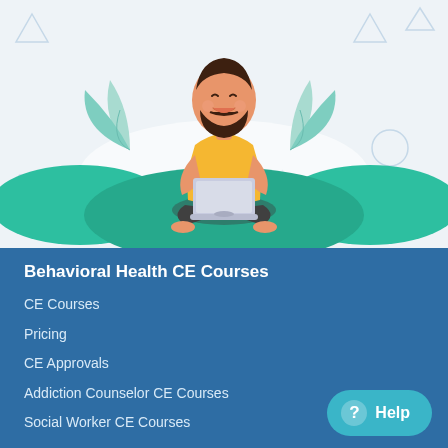[Figure (illustration): Flat vector illustration of a bearded man with dark hair wearing a yellow shirt, sitting cross-legged on a surface with a laptop, surrounded by teal/green hills and plant leaves in the background, on a light blue-grey background with faint decorative geometric shapes]
Behavioral Health CE Courses
CE Courses
Pricing
CE Approvals
Addiction Counselor CE Courses
Social Worker CE Courses